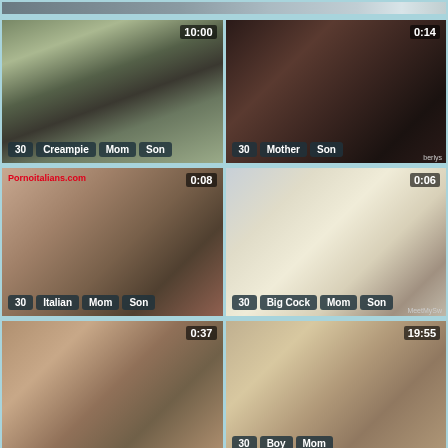[Figure (screenshot): Video thumbnail top strip, partially visible]
[Figure (screenshot): Video thumbnail: 10:00 duration, tags: 30, Creampie, Mom, Son]
[Figure (screenshot): Video thumbnail: 0:14 duration, tags: 30, Mother, Son]
[Figure (screenshot): Video thumbnail: 0:08 duration, watermark Pornoitalians.com, tags: 30, Italian, Mom, Son]
[Figure (screenshot): Video thumbnail: 0:06 duration, tags: 30, Big Cock, Mom, Son, watermark MeetMySw...]
[Figure (screenshot): Video thumbnail: 0:37 duration, no visible tags]
[Figure (screenshot): Video thumbnail: 19:55 duration, tags: 30, Boy, Mom]